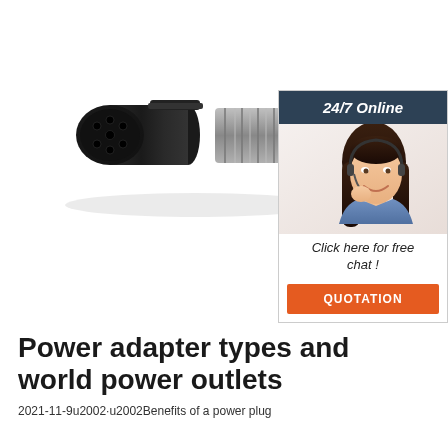[Figure (photo): A black circular power plug connector (7-pin type) with a silver metal barrel/spring housing extending to the right, shown on a white background.]
[Figure (infographic): Sidebar advertisement with dark blue header reading '24/7 Online', a photo of a smiling woman with headset, italic text 'Click here for free chat!', and an orange button labeled 'QUOTATION'.]
Power adapter types and world power outlets
2021-11-9u2002·u2002Benefits of a power plug